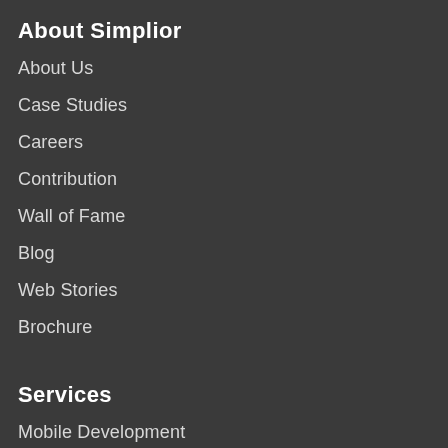About Simplior
About Us
Case Studies
Careers
Contribution
Wall of Fame
Blog
Web Stories
Brochure
Services
Mobile Development